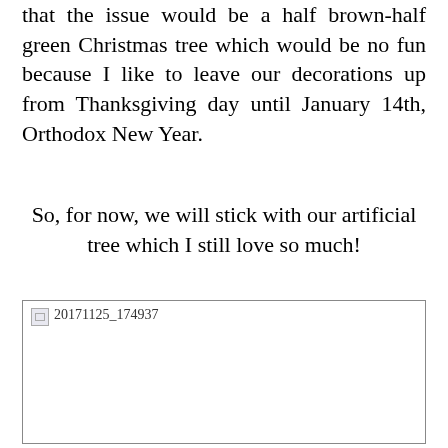that the issue would be a half brown-half green Christmas tree which would be no fun because I like to leave our decorations up from Thanksgiving day until January 14th, Orthodox New Year.
So, for now, we will stick with our artificial tree which I still love so much!
[Figure (photo): A broken/missing image placeholder labeled '20171125_174937']